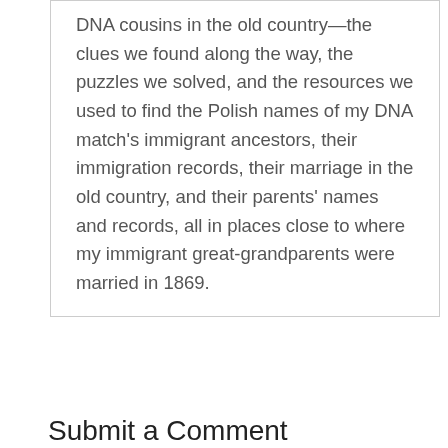DNA cousins in the old country—the clues we found along the way, the puzzles we solved, and the resources we used to find the Polish names of my DNA match's immigrant ancestors, their immigration records, their marriage in the old country, and their parents' names and records, all in places close to where my immigrant great-grandparents were married in 1869.
Submit a Comment